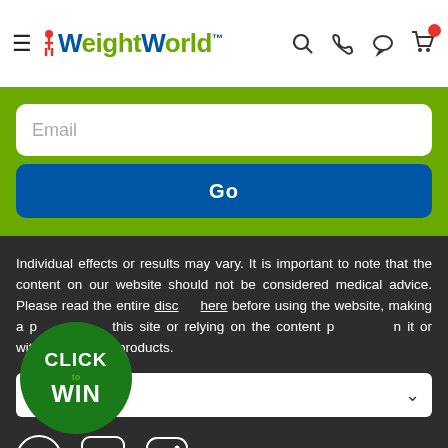[Figure (logo): WeightWorld logo with hamburger menu]
[Figure (screenshot): Email input field with placeholder 'Email']
[Figure (screenshot): Go button in blue]
Individual effects or results may vary. It is important to note that the content on our website should not be considered medical advice. Please read the entire disclaimer here before using the website, making a purchase on this site or relying on the content published in it or within any of our products.
[Figure (infographic): Click to Win green circular badge]
[Figure (screenshot): English language selector dropdown with UK flag]
[Figure (screenshot): Social media icons: Facebook, YouTube, Instagram]